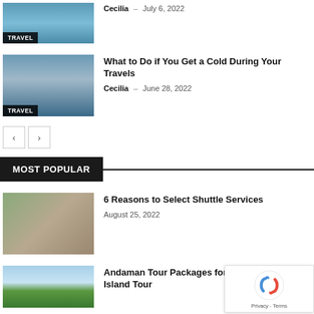[Figure (photo): Partial travel thumbnail with TRAVEL badge, lake/water scene]
Cecilia – July 6, 2022
[Figure (photo): Two hikers with arms raised near lake, TRAVEL badge]
What to Do if You Get a Cold During Your Travels
Cecilia – June 28, 2022
< (previous page button)
> (next page button)
MOST POPULAR
[Figure (photo): Couple near vintage car, shuttle services article thumbnail]
6 Reasons to Select Shuttle Services
August 25, 2022
[Figure (photo): Andaman island scene with blue sky and tropical trees]
Andaman Tour Packages for Those Looking for Island Tour